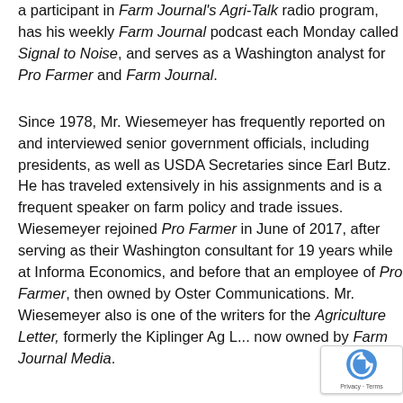a participant in Farm Journal's Agri-Talk radio program, has his weekly Farm Journal podcast each Monday called Signal to Noise, and serves as a Washington analyst for Pro Farmer and Farm Journal.
Since 1978, Mr. Wiesemeyer has frequently reported on and interviewed senior government officials, including presidents, as well as USDA Secretaries since Earl Butz. He has traveled extensively in his assignments and is a frequent speaker on farm policy and trade issues. Wiesemeyer rejoined Pro Farmer in June of 2017, after serving as their Washington consultant for 19 years while at Informa Economics, and before that an employee of Pro Farmer, then owned by Oster Communications. Mr. Wiesemeyer also is one of the writers for the Agriculture Letter, formerly the Kiplinger Ag L... now owned by Farm Journal Media.